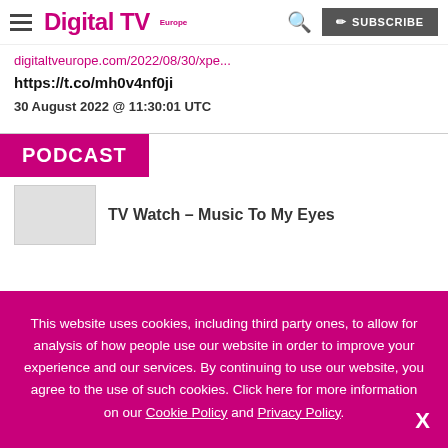Digital TV Europe — hamburger menu, search, SUBSCRIBE
digitaltveurope.com/2022/08/30/xpe...
https://t.co/mh0v4nf0ji
30 August 2022 @ 11:30:01 UTC
PODCAST
TV Watch – Music To My Eyes
This website uses cookies, including third party ones, to allow for analysis of how people use our website in order to improve your experience and our services. By continuing to use our website, you agree to the use of such cookies. Click here for more information on our Cookie Policy and Privacy Policy.